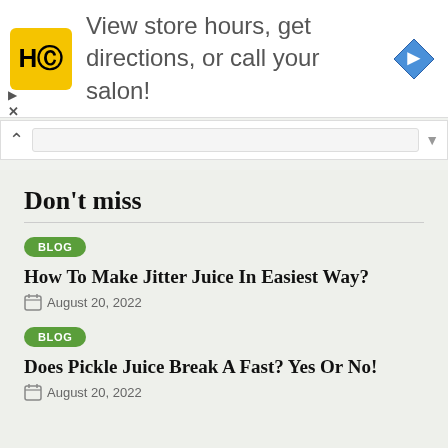[Figure (infographic): Advertisement banner: HC logo (yellow square with HC text), text 'View store hours, get directions, or call your salon!', blue diamond navigation arrow icon on the right. Play and X controls on the left below.]
Don't miss
BLOG
How To Make Jitter Juice In Easiest Way?
August 20, 2022
BLOG
Does Pickle Juice Break A Fast? Yes Or No!
August 20, 2022